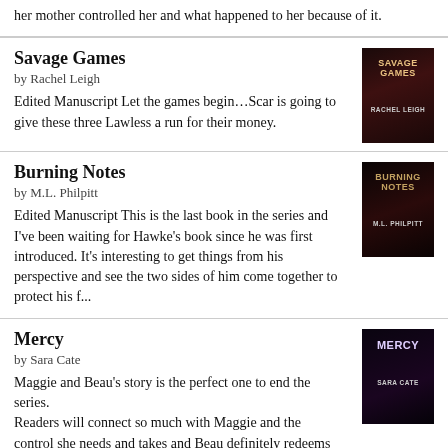her mother controlled her and what happened to her because of it.
Savage Games
by Rachel Leigh
Edited Manuscript Let the games begin…Scar is going to give these three Lawless a run for their money.
[Figure (photo): Book cover for Savage Games by Rachel Leigh, dark romantic cover]
Burning Notes
by M.L. Philpitt
Edited Manuscript This is the last book in the series and I've been waiting for Hawke's book since he was first introduced. It's interesting to get things from his perspective and see the two sides of him come together to protect his f...
[Figure (photo): Book cover for Burning Notes by M.L. Philpitt, dark cover]
Mercy
by Sara Cate
Maggie and Beau's story is the perfect one to end the series. Readers will connect so much with Maggie and the control she needs and takes and Beau definitely redeems himself and then some. Edited Manuscript
[Figure (photo): Book cover for Mercy by Sara Cate, dark romantic cover]